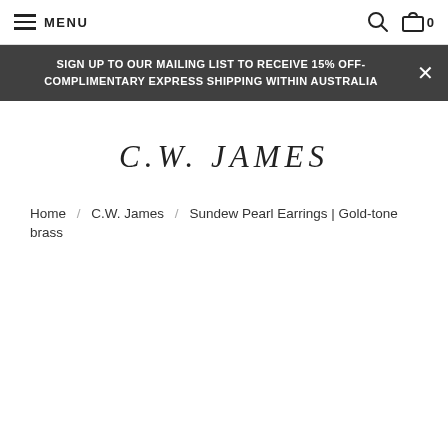≡ MENU
SIGN UP TO OUR MAILING LIST TO RECEIVE 15% OFF- COMPLIMENTARY EXPRESS SHIPPING WITHIN AUSTRALIA
[Figure (logo): C.W. James brand logo in italic serif font]
Home / C.W. James / Sundew Pearl Earrings | Gold-tone brass